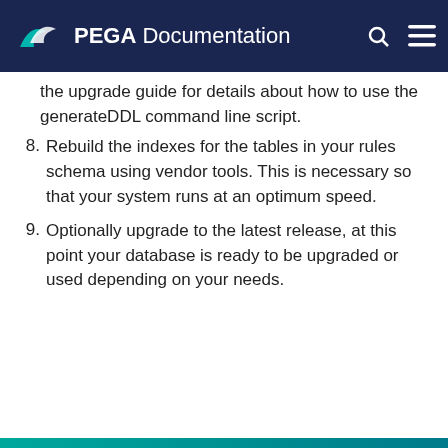PEGA Documentation
the upgrade guide for details about how to use the generateDDL command line script.
8. Rebuild the indexes for the tables in your rules schema using vendor tools. This is necessary so that your system runs at an optimum speed.
9. Optionally upgrade to the latest release, at this point your database is ready to be upgraded or used depending on your needs.
READY TO CRUSH COMPLEXITY?
By using this site, you agree to the use of cookies.
Read our Privacy Policy
Accept and continue  About cookies